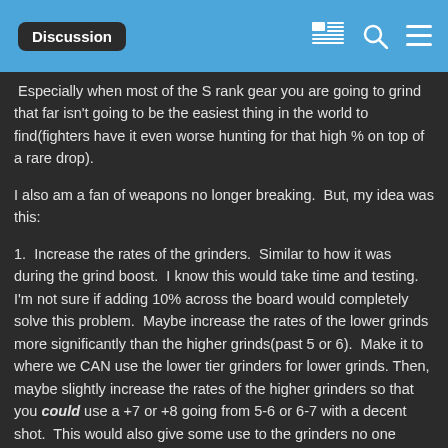Discussion
Especially when most of the S rank gear you are going to grind that far isn't going to be the easiest thing in the world to find(fighters have it even worse hunting for that high % on top of a rare drop).
I also am a fan of weapons no longer breaking.  But, my idea was this:
1.  Increase the rates of the grinders.  Similar to how it was during the grind boost.  I know this would take time and testing.  I'm not sure if adding 10% across the board would completely solve this problem.  Maybe increase the rates of the lower grinds more significantly than the higher grinds(past 5 or 6).  Make it to where we CAN use the lower tier grinders for lower grinds. Then, maybe slightly increase the rates of the higher grinders so that you could use a +7 or +8 going from 5-6 or 6-7 with a decent shot.  This would also give some use to the grinders no one uses(anything that isn't an S+9 or 10).
2. If a weapon does fail from 5/10 going to 6/10, bring it back